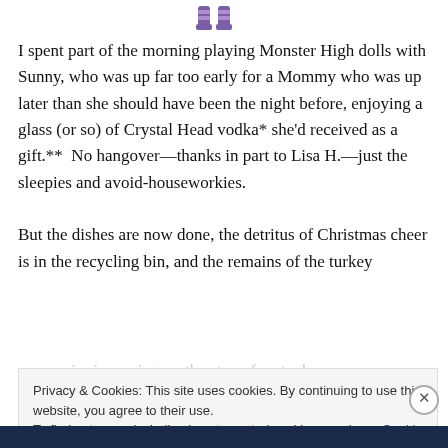[Figure (illustration): Two purple/striped socks or boots icon at the top center of the page]
I spent part of the morning playing Monster High dolls with Sunny, who was up far too early for a Mommy who was up later than she should have been the night before, enjoying a glass (or so) of Crystal Head vodka* she'd received as a gift.**  No hangover—thanks in part to Lisa H.—just the sleepies and avoid-houseworkies.

But the dishes are now done, the detritus of Christmas cheer is in the recycling bin, and the remains of the turkey carcass is simmering on the stove for stock.
Privacy & Cookies: This site uses cookies. By continuing to use this website, you agree to their use.
To find out more, including how to control cookies, see here: Cookie Policy

Close and accept